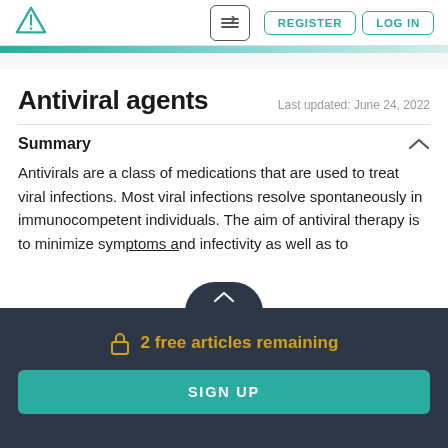Antiviral agents — REGISTER | LOG IN
Antiviral agents
Last updated: June 24, 2022
Summary
Antivirals are a class of medications that are used to treat viral infections. Most viral infections resolve spontaneously in immunocompetent individuals. The aim of antiviral therapy is to minimize symptoms and infectivity as well as to
2 free articles remaining
SIGN UP